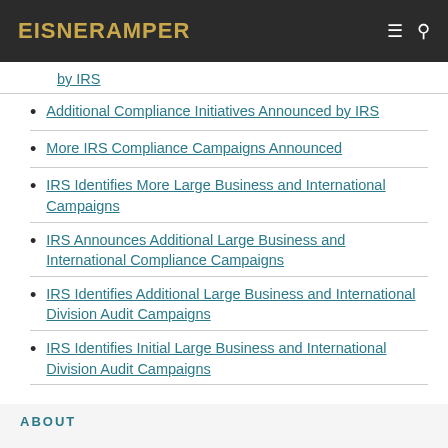EisnerAmper
by IRS
Additional Compliance Initiatives Announced by IRS
More IRS Compliance Campaigns Announced
IRS Identifies More Large Business and International Campaigns
IRS Announces Additional Large Business and International Compliance Campaigns
IRS Identifies Additional Large Business and International Division Audit Campaigns
IRS Identifies Initial Large Business and International Division Audit Campaigns
ABOUT